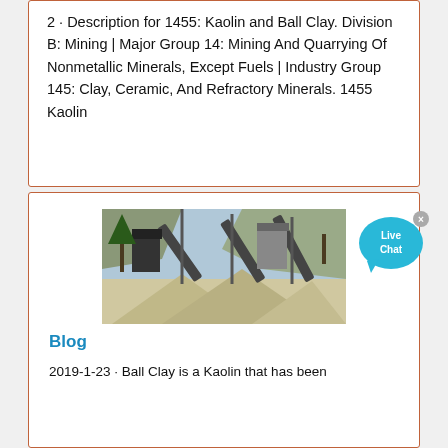2 · Description for 1455: Kaolin and Ball Clay. Division B: Mining | Major Group 14: Mining And Quarrying Of Nonmetallic Minerals, Except Fuels | Industry Group 145: Clay, Ceramic, And Refractory Minerals. 1455 Kaolin
[Figure (photo): Industrial mining facility with conveyor belts, aggregate piles, and processing equipment against a rocky hillside background.]
Blog
2019-1-23 · Ball Clay is a Kaolin that has been